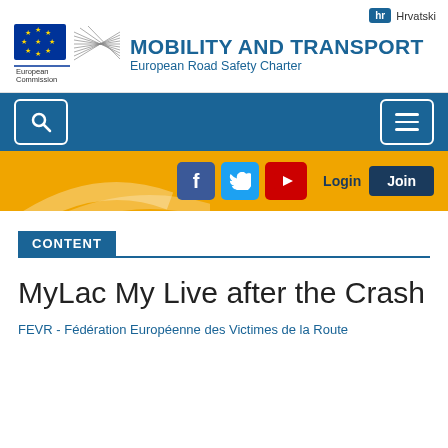[Figure (logo): European Commission logo with EU flag and stylized building graphic, with text 'European Commission' below]
MOBILITY AND TRANSPORT
European Road Safety Charter
hr Hrvatski
[Figure (screenshot): Blue navigation bar with search icon button on left and hamburger menu button on right]
[Figure (screenshot): Yellow social bar with Facebook, Twitter, YouTube icons and Login text and Join button]
CONTENT
MyLac My Live after the Crash
FEVR - Fédération Européenne des Victimes de la Route